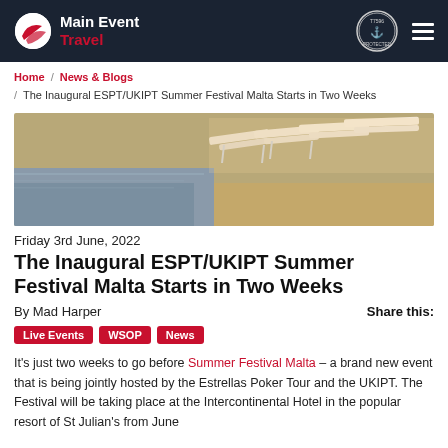Main Event Travel
Home / News & Blogs / The Inaugural ESPT/UKIPT Summer Festival Malta Starts in Two Weeks
[Figure (photo): Beach scene with white lounge chairs near the water's edge, sunlit sandy and wet surface]
Friday 3rd June, 2022
The Inaugural ESPT/UKIPT Summer Festival Malta Starts in Two Weeks
By Mad Harper    Share this:
Live Events  WSOP  News
It's just two weeks to go before Summer Festival Malta – a brand new event that is being jointly hosted by the Estrellas Poker Tour and the UKIPT. The Festival will be taking place at the Intercontinental Hotel in the popular resort of St Julian's from June